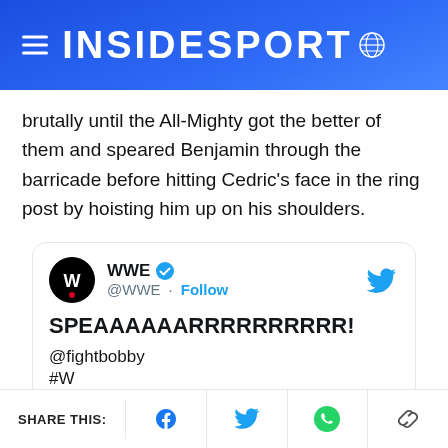INSIDESPORT
brutally until the All-Mighty got the better of them and speared Benjamin through the barricade before hitting Cedric's face in the ring post by hoisting him up on his shoulders.
[Figure (screenshot): Embedded tweet from @WWE with text: SPEAAAAAARRRRRRRRRR! @fightbobby #W...]
SHARE THIS: